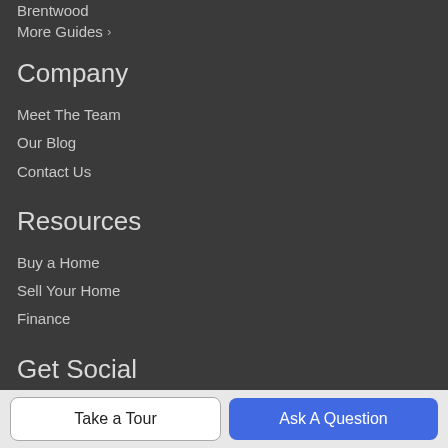Brentwood
More Guides >
Company
Meet The Team
Our Blog
Contact Us
Resources
Buy a Home
Sell Your Home
Finance
Get Social
[Figure (infographic): Row of 6 social media icons: YouTube (red), Facebook (blue), Twitter (light blue), LinkedIn (dark blue), Pinterest (red), Instagram (gradient pink/purple)]
Take a Tour
Ask A Question